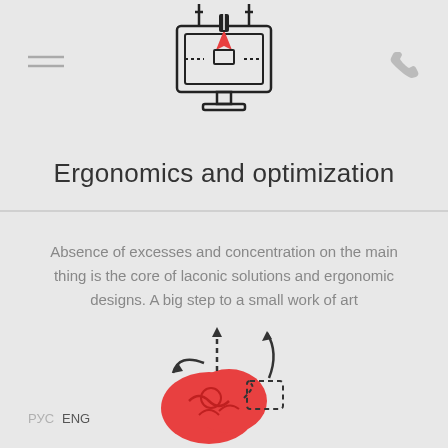[Figure (illustration): Icon of a computer monitor with a pen tool/design cursor on top, conveying graphic design or UI design, with decorative hanging elements above]
[Figure (illustration): Hamburger menu icon (three horizontal lines) in top left corner]
[Figure (illustration): Phone/call icon in top right corner]
Ergonomics and optimization
Absence of excesses and concentration on the main thing is the core of laconic solutions and ergonomic designs. A big step to a small work of art
[Figure (illustration): Red brain icon with dashed arrows curving around it, representing thinking, optimization or mental processes]
RUS  ENG